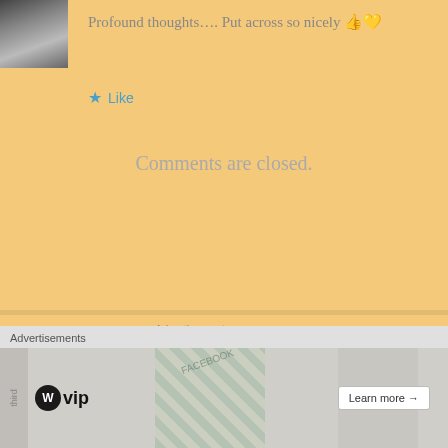[Figure (photo): Partial avatar/profile photo of a person, top-left corner]
Profound thoughts…. Put across so nicely 👍💛
★ Like
Comments are closed.
Advertisements
[Figure (logo): Longreads advertisement banner — black background with red circle L logo and white LONGREADS text]
[Figure (logo): Close/dismiss button (X circle)]
Advertisements
[Figure (infographic): WordPress VIP advertisement banner with wp logo, vip text, colorful card graphics, and Learn more arrow button]